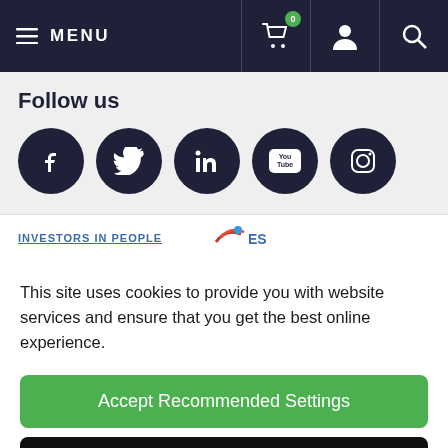MENU
Follow us
[Figure (illustration): Five social media icon circles: Facebook, Twitter, LinkedIn, YouTube, Instagram]
[Figure (logo): Investors in People and ESDA logos partially visible]
This site uses cookies to provide you with website services and ensure that you get the best online experience.
Accept Recommended Settings
Learn More